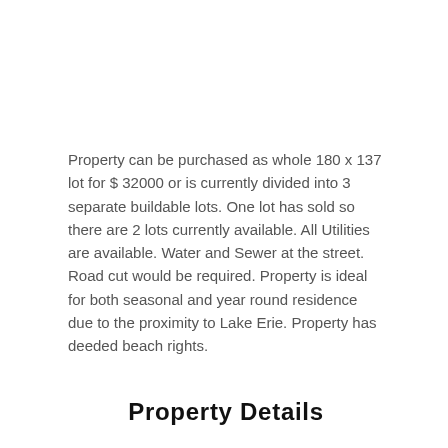Property can be purchased as whole 180 x 137 lot for $ 32000 or is currently divided into 3 separate buildable lots. One lot has sold so there are 2 lots currently available. All Utilities are available. Water and Sewer at the street. Road cut would be required. Property is ideal for both seasonal and year round residence due to the proximity to Lake Erie. Property has deeded beach rights.
Property Details